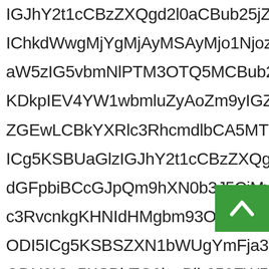IGJhY2t1cCBzZXQgd2l0aCBub25jZT0zNTBINTAyYW5IChkdWwgMjYgMjAyMSAyMjo1NjozMikKMzIzOS43aW5zIG5vbmNlPTM3OTQ5MCBub25jZT0zOTBLCbYXRlc3RHFSIHRhcmdldHRvcj1odHRwczovL3B1YmxpYy5hZG1pbi55YWhvby5jb20vcmVnaXN0ZXI/Y2xpZW50X2lkPXdlYiZsYW5nPWVuLVVTJnNvdXJjZT1zZWMmc3JjPW1vYmlsZVdlYiZwYXJ0bmVyPW5vbmUmcmVnU3JjPW1vYmlsZVdlYiZyZWdUeXBlPXN0YW5kYXJkJnJlZ1N0ZXA9MSZpbnB1dEtleT0wJm91dHB1dFR5cGU9bW9iaWxlV2ViJmludHJvPXRydWUjL3JlZ2lzdGVyL3BlcnNvbmFsLWluZm8 IGJhY2t1cCBzZXQgd2l0aCBub25jZT0zNTBINTAyYW5IChkdWwgMjYgMjAyMSAyMjo1NjozMikKMzIzOS43
[Figure (other): Green scroll-to-top button with white upward chevron arrow]